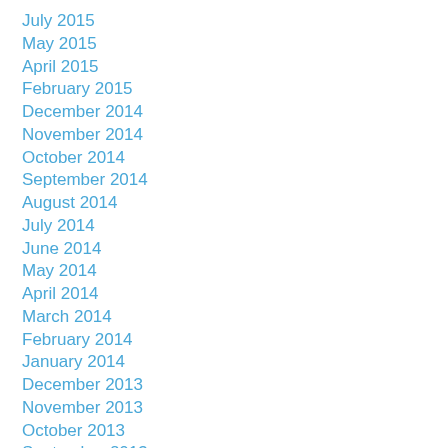July 2015
May 2015
April 2015
February 2015
December 2014
November 2014
October 2014
September 2014
August 2014
July 2014
June 2014
May 2014
April 2014
March 2014
February 2014
January 2014
December 2013
November 2013
October 2013
September 2013